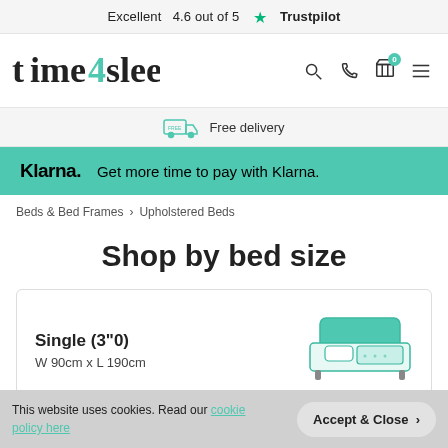Excellent 4.6 out of 5 ★ Trustpilot
[Figure (logo): time4sleep logo with teal '4' and navigation icons (search, phone, cart with 0 badge, hamburger menu)]
Free delivery
Klarna. Get more time to pay with Klarna.
Beds & Bed Frames > Upholstered Beds
Shop by bed size
Single (3"0)
W 90cm x L 190cm
[Figure (illustration): Line illustration of a single bed with teal headboard and bedding]
This website uses cookies. Read our cookie policy here
Accept & Close >